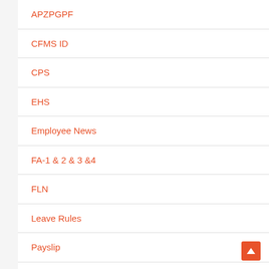APZPGPF
CFMS ID
CPS
EHS
Employee News
FA-1 & 2 & 3 &4
FLN
Leave Rules
Payslip
PF